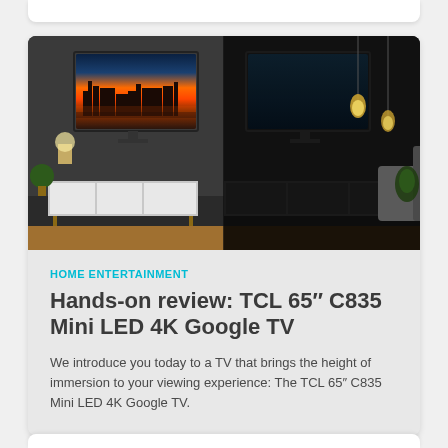[Figure (photo): A split-screen image showing a TV displaying a bright lit London cityscape scene on the left half and a dark/off screen on the right half, both mounted in a dark living room setting with furniture visible]
HOME ENTERTAINMENT
Hands-on review: TCL 65″ C835 Mini LED 4K Google TV
We introduce you today to a TV that brings the height of immersion to your viewing experience: The TCL 65″ C835 Mini LED 4K Google TV.